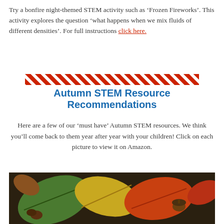Try a bonfire night-themed STEM activity such as ‘Frozen Fireworks’. This activity explores the question ‘what happens when we mix fluids of different densities’. For full instructions click here.
[Figure (illustration): Red and white diagonal stripe divider line pattern across the page]
Autumn STEM Resource Recommendations
Here are a few of our ‘must have’ Autumn STEM resources. We think you’ll come back to them year after year with your children! Click on each picture to view it on Amazon.
[Figure (photo): Autumn leaves in various colors (green, yellow, orange, red) with an acorn on a dark background]